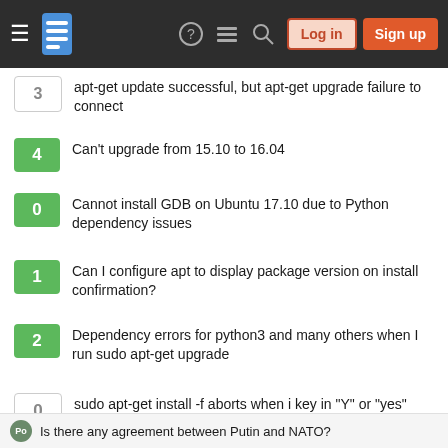Stack Exchange navigation bar with Log in and Sign up buttons
3 — apt-get update successful, but apt-get upgrade failure to connect
4 — Can't upgrade from 15.10 to 16.04
0 — Cannot install GDB on Ubuntu 17.10 due to Python dependency issues
1 — Can I configure apt to display package version on install confirmation?
2 — Dependency errors for python3 and many others when I run sudo apt-get upgrade
0 — sudo apt-get install -f aborts when i key in "Y" or "yes"
Your privacy
By clicking "Accept all cookies", you agree Stack Exchange can store cookies on your device and disclose information in accordance with our Cookie Policy.
Accept all cookies | Customize settings
Is there any agreement between Putin and NATO?